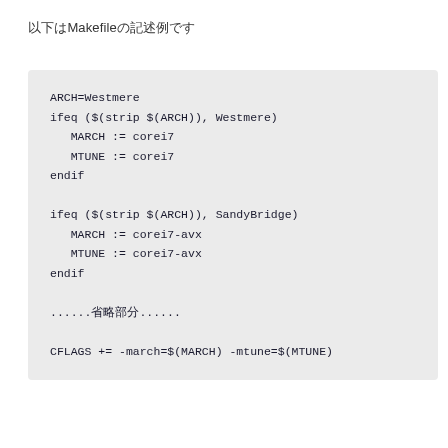以下はMakefileの記述例です
ARCH=Westmere
ifeq ($(strip $(ARCH)), Westmere)
  MARCH := corei7
  MTUNE := corei7
endif

ifeq ($(strip $(ARCH)), SandyBridge)
  MARCH := corei7-avx
  MTUNE := corei7-avx
endif

......省略部分......

CFLAGS += -march=$(MARCH) -mtune=$(MTUNE)